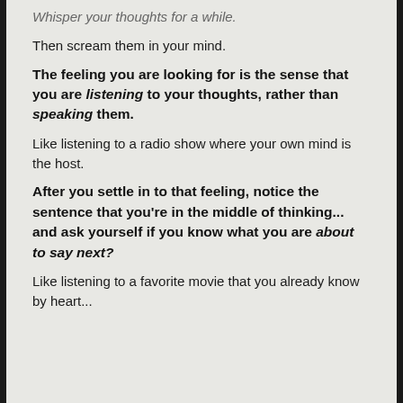Whisper your thoughts for a while.
Then scream them in your mind.
The feeling you are looking for is the sense that you are listening to your thoughts, rather than speaking them.
Like listening to a radio show where your own mind is the host.
After you settle in to that feeling, notice the sentence that you're in the middle of thinking... and ask yourself if you know what you are about to say next?
Like listening to a favorite movie that you already know by heart...